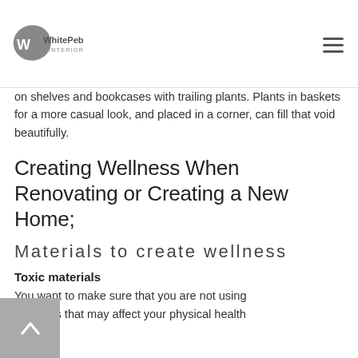WhitePebble Interiors
on shelves and bookcases with trailing plants. Plants in baskets for a more casual look, and placed in a corner, can fill that void beautifully.
Creating Wellness When Renovating or Creating a New Home;
Materials to create wellness
Toxic materials
You want to make sure that you are not using materials that may affect your physical health